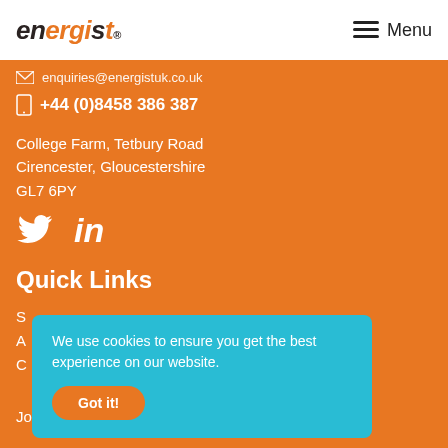[Figure (logo): Energist logo with orange accent on 'gi' letters]
Menu
enquiries@energistuk.co.uk
+44 (0)8458 386 387
College Farm, Tetbury Road
Cirencester, Gloucestershire
GL7 6PY
[Figure (illustration): Twitter and LinkedIn social media icons in white]
Quick Links
We use cookies to ensure you get the best experience on our website.
Got it!
S...
A...
C...
Join us